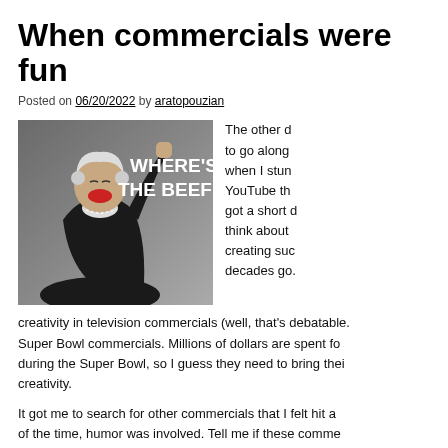When commercials were fun
Posted on 06/20/2022 by aratopouzian
[Figure (photo): An elderly woman in a black outfit with white lace collar, laughing and raising her fist, next to bold white text reading WHERE'S THE BEEF?]
The other d to go along when I stun YouTube th got a short think about creating suc decades go. creativity in television commercials (well, that's debatable. Super Bowl commercials. Millions of dollars are spent fo during the Super Bowl, so I guess they need to bring thei creativity.
It got me to search for other commercials that I felt hit a of the time, humor was involved. Tell me if these comme